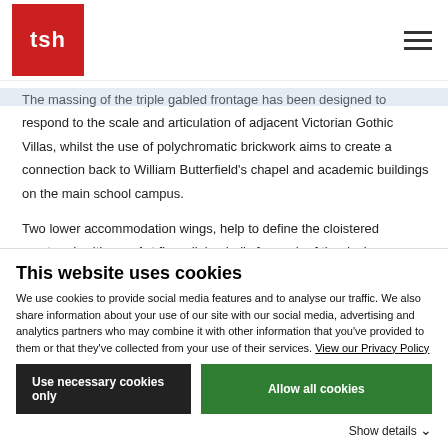[Figure (logo): TSH Architects logo — red square with white 'tsh' text and 'architects' below in red]
nfield and Town House, all centred around a shared, ped courtyard.
The massing of the triple gabled frontage has been designed to respond to the scale and articulation of adjacent Victorian Gothic Villas, whilst the use of polychromatic brickwork aims to create a connection back to William Butterfield's chapel and academic buildings on the main school campus.
Two lower accommodation wings, help to define the cloistered courtyard, with new 1st floor dining halls for each of the dayhouses
This website uses cookies
We use cookies to provide social media features and to analyse our traffic. We also share information about your use of our site with our social media, advertising and analytics partners who may combine it with other information that you've provided to them or that they've collected from your use of their services. View our Privacy Policy
Use necessary cookies only
Allow all cookies
Show details